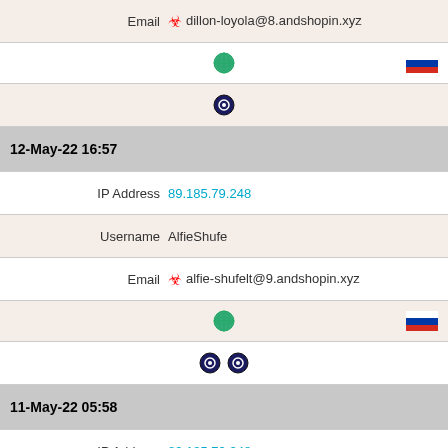Email ☣ dillon-loyola@8.andshopin.xyz
[Figure (infographic): Row with globe icon on left and Russian flag icon on right]
[Figure (infographic): Row with fingerprint/hand icon]
12-May-22 16:57
IP Address 89.185.79.248
Username AlfieShufe
Email ☣ alfie-shufelt@9.andshopin.xyz
[Figure (infographic): Row with globe icon on left and Russian flag icon on right]
[Figure (infographic): Row with two fingerprint/hand icons]
11-May-22 05:58
IP Address 89.185.79.248
Username JustinaRea
Email ☣ justina.rea65@9.andshopin.xyz
[Figure (infographic): Row with globe icon on left and Russian flag icon on right]
[Figure (infographic): Row with two fingerprint/hand icons]
11-May-22 02:30
IP Address 89.185.79.248